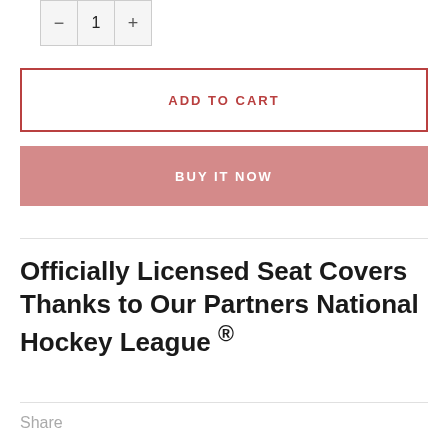[Figure (screenshot): Quantity selector showing minus button, number 1, and plus button in a bordered box]
ADD TO CART
BUY IT NOW
Officially Licensed Seat Covers Thanks to Our Partners National Hockey League ®
Share